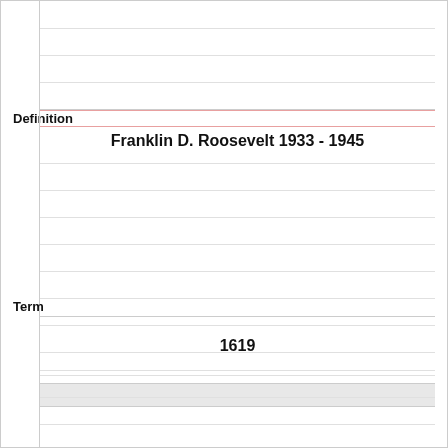Definition
Franklin D. Roosevelt 1933 - 1945
Term
1619